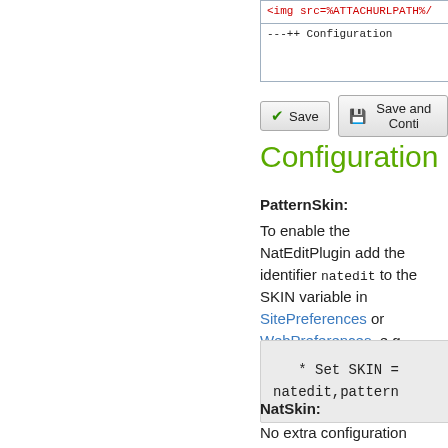[Figure (screenshot): Partial view of a code editor or wiki editor showing red-colored HTML/template code and a '---++ Configuration' line, with a blue border]
[Figure (screenshot): Two buttons: 'Save' with a green checkmark icon, and 'Save and Conti...' with a floppy disk icon]
Configuration
PatternSkin:
To enable the NatEditPlugin add the identifier natedit to the SKIN variable in SitePreferences or WebPreferences, e.g.
[Figure (screenshot): Code block showing: * Set SKIN = natedit,pattern]
NatSkin:
No extra configuration steps are needed in case you are using